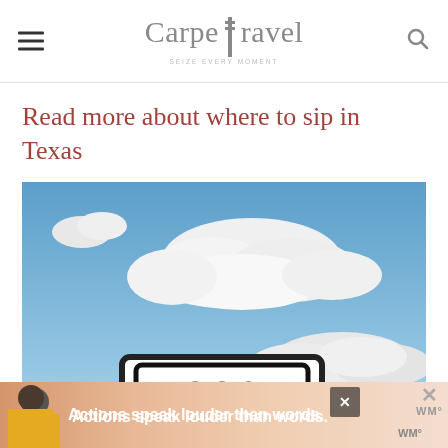CarpeTravel
Read more about where to sip in Texas
[Figure (photo): A blue sky with white fluffy clouds, and a Texas highway US Route 290 road sign in the lower left corner]
[Figure (photo): Advertisement banner: 'Actions speak louder than words.' with a person in a yellow shirt and WM logo]